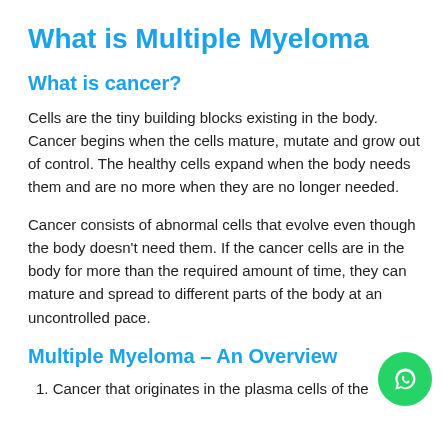What is Multiple Myeloma
What is cancer?
Cells are the tiny building blocks existing in the body. Cancer begins when the cells mature, mutate and grow out of control. The healthy cells expand when the body needs them and are no more when they are no longer needed.
Cancer consists of abnormal cells that evolve even though the body doesn't need them. If the cancer cells are in the body for more than the required amount of time, they can mature and spread to different parts of the body at an uncontrolled pace.
Multiple Myeloma – An Overview
1. Cancer that originates in the plasma cells of the